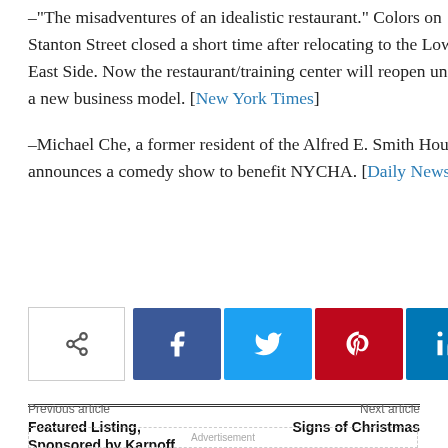–"The misadventures of an idealistic restaurant." Colors on Stanton Street closed a short time after relocating to the Lower East Side. Now the restaurant/training center will reopen under a new business model. [New York Times]
–Michael Che, a former resident of the Alfred E. Smith Houses, announces a comedy show to benefit NYCHA. [Daily News]
[Figure (other): Social share bar with share icon, Facebook, Twitter, Pinterest, LinkedIn, and Reddit buttons]
Previous article
Featured Listing, Sponsored by Karpoff Affiliates
Next article
Signs of Christmas
Advertisement